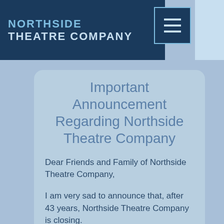NORTHSIDE THEATRE COMPANY
Important Announcement Regarding Northside Theatre Company
Dear Friends and Family of Northside Theatre Company,
I am very sad to announce that, after 43 years, Northside Theatre Company is closing.
There are many things we have survived in the past 5 years. Richard's death, the Flood, the Fire, the